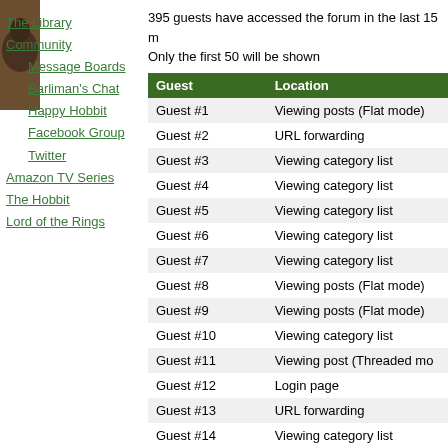The Library
Community
Message Boards
Barliman's Chat
Happy Hobbit
Facebook Group
Twitter
Amazon TV Series
The Hobbit
Lord of the Rings
395 guests have accessed the forum in the last 15 m
Only the first 50 will be shown
| Guest | Location |
| --- | --- |
| Guest #1 | Viewing posts (Flat mode) |
| Guest #2 | URL forwarding |
| Guest #3 | Viewing category list |
| Guest #4 | Viewing category list |
| Guest #5 | Viewing category list |
| Guest #6 | Viewing category list |
| Guest #7 | Viewing category list |
| Guest #8 | Viewing posts (Flat mode) |
| Guest #9 | Viewing posts (Flat mode) |
| Guest #10 | Viewing category list |
| Guest #11 | Viewing post (Threaded mo... |
| Guest #12 | Login page |
| Guest #13 | URL forwarding |
| Guest #14 | Viewing category list |
| Guest #15 | URL forwarding |